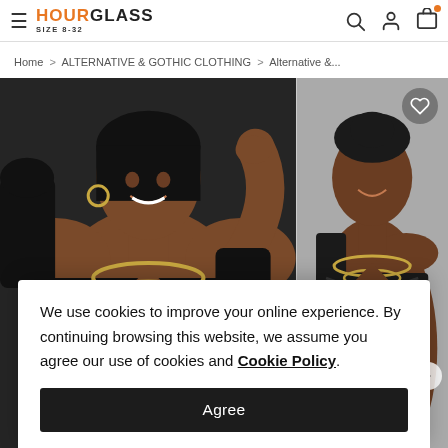HOURGLASS SIZE 8-32 — navigation header with hamburger menu, logo, search, account, and cart icons
Home > ALTERNATIVE & GOTHIC CLOTHING > Alternative &...
[Figure (photo): Two Black women wearing black off-shoulder long-sleeve tops with lace neckline trim, accessorized with gold chain necklaces. Left photo shows a fuller view against a dark background; right photo shows a second model against a grey background. A heart/wishlist button appears in the upper right of the product image.]
We use cookies to improve your online experience. By continuing browsing this website, we assume you agree our use of cookies and Cookie Policy.
Agree